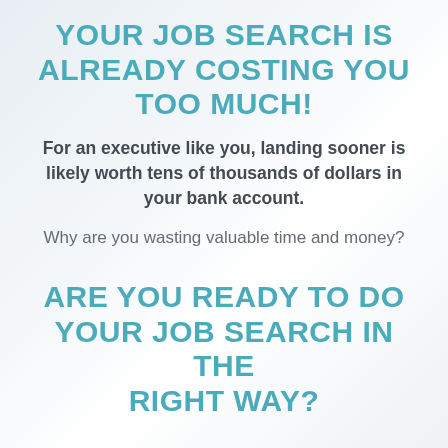YOUR JOB SEARCH IS ALREADY COSTING YOU TOO MUCH!
For an executive like you, landing sooner is likely worth tens of thousands of dollars in your bank account.
Why are you wasting valuable time and money?
ARE YOU READY TO DO YOUR JOB SEARCH IN THE RIGHT WAY?